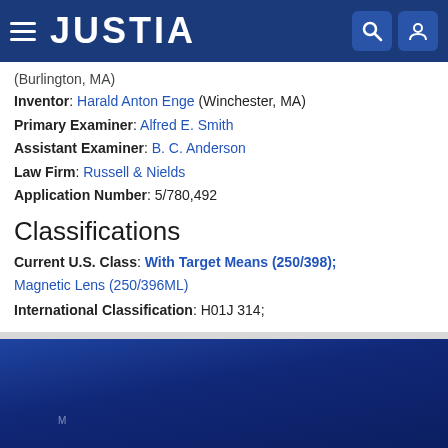JUSTIA
(Burlington, MA)
Inventor: Harald Anton Enge (Winchester, MA)
Primary Examiner: Alfred E. Smith
Assistant Examiner: B. C. Anderson
Law Firm: Russell & Nields
Application Number: 5/780,492
Classifications
Current U.S. Class: With Target Means (250/398); Magnetic Lens (250/396ML)
International Classification: H01J 314;